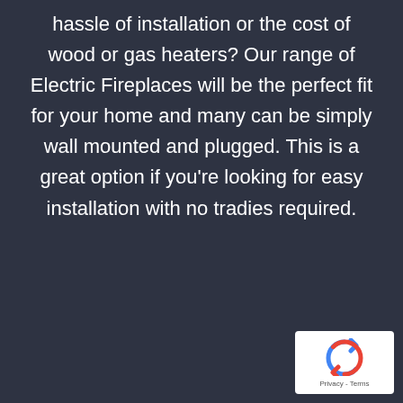hassle of installation or the cost of wood or gas heaters? Our range of Electric Fireplaces will be the perfect fit for your home and many can be simply wall mounted and plugged. This is a great option if you're looking for easy installation with no tradies required.
[Figure (logo): Google reCAPTCHA badge with recycle/arrows icon and Privacy - Terms text]